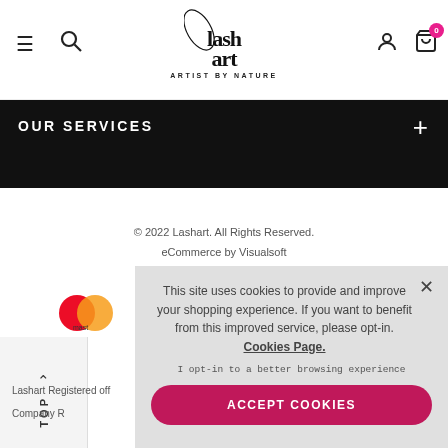Lash Art - ARTIST BY NATURE - navigation header with hamburger, search, user, cart icons
OUR SERVICES +
© 2022 Lashart. All Rights Reserved.
eCommerce by Visualsoft
[Figure (logo): Mastercard logo (red/orange circles)]
TOP (scroll to top button)
Lashart Registered off
Company R
This site uses cookies to provide and improve your shopping experience. If you want to benefit from this improved service, please opt-in. Cookies Page.
I opt-in to a better browsing experience
ACCEPT COOKIES